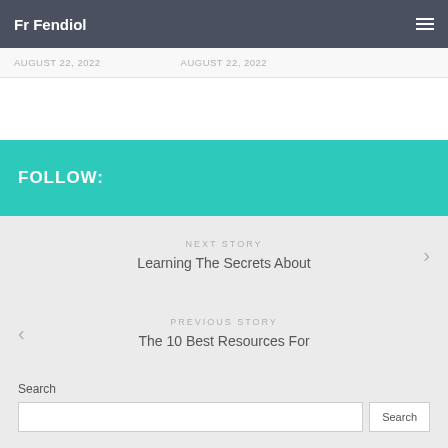Fr Fendiol
August 22, 2022   August 22, 2022
FOLLOW:
NEXT STORY
Learning The Secrets About
PREVIOUS STORY
The 10 Best Resources For
Search